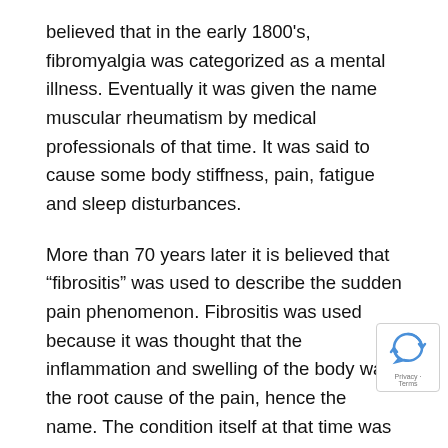believed that in the early 1800's, fibromyalgia was categorized as a mental illness. Eventually it was given the name muscular rheumatism by medical professionals of that time. It was said to cause some body stiffness, pain, fatigue and sleep disturbances.
More than 70 years later it is believed that “fibrositis” was used to describe the sudden pain phenomenon. Fibrositis was used because it was thought that the inflammation and swelling of the body was the root cause of the pain, hence the name. The condition itself at that time was still a very misunderstood one and various treatments were offered to those suffering from the illness. It’s believed that the success rates for these treatments was low.
As the years went on and more research into the condition